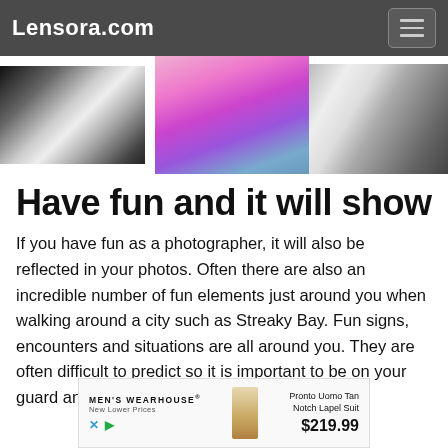Lensora.com
[Figure (photo): Three photos in a horizontal strip: a black-and-white close-up portrait on the left, a colorful image of people with pink/purple hair in the center, and a black-and-white street scene on the right.]
Have fun and it will show
If you have fun as a photographer, it will also be reflected in your photos. Often there are also an incredible number of fun elements just around you when walking around a city such as Streaky Bay. Fun signs, encounters and situations are all around you. They are often difficult to predict so it is important to be on your guard and always have the camera ready.
[Figure (other): Advertisement banner for Men's Wearhouse showing 'Pronto Uomo Tan Notch Lapel Suit' priced at $219.99 with New Lower Prices tagline and a figure wearing a tan suit.]